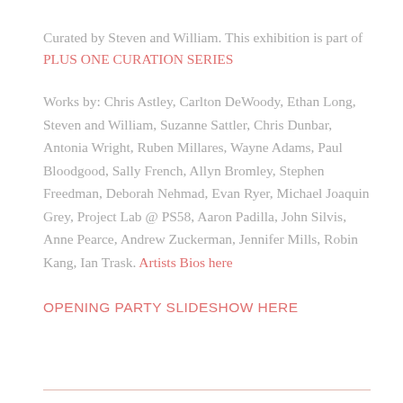Curated by Steven and William. This exhibition is part of PLUS ONE CURATION SERIES
Works by: Chris Astley, Carlton DeWoody, Ethan Long, Steven and William, Suzanne Sattler, Chris Dunbar, Antonia Wright, Ruben Millares, Wayne Adams, Paul Bloodgood, Sally French, Allyn Bromley, Stephen Freedman, Deborah Nehmad, Evan Ryer, Michael Joaquin Grey, Project Lab @ PS58, Aaron Padilla, John Silvis, Anne Pearce, Andrew Zuckerman, Jennifer Mills, Robin Kang, Ian Trask. Artists Bios here
OPENING PARTY SLIDESHOW HERE